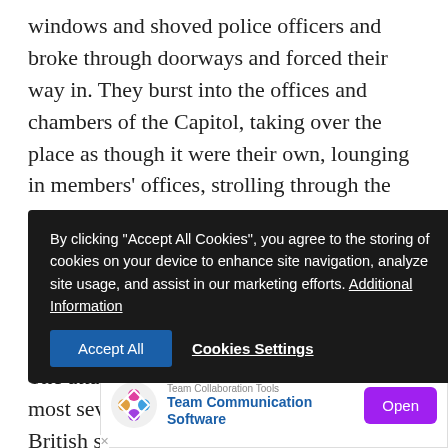windows and shoved police officers and broke through doorways and forced their way in. They burst into the offices and chambers of the Capitol, taking over the place as though it were their own, lounging in members' offices, strolling through the statuaries, halting the constitutional process of completing Joe Biden's presidency and raising the specter of a coup against this 232-year-old democracy.
The attack, which some historians called the most severe assault on the Capitol since the British sacked the building in 1814, was "instigated at the highest level," said House Speaker Nancy Pelosi, D-Calif. It was "w... insurre...
[Figure (other): Cookie consent overlay popup with dark background reading: By clicking "Accept All Cookies", you agree to the storing of cookies on your device to enhance site navigation, analyze site usage, and assist in our marketing efforts. Additional Information. Buttons: Accept All and Cookies Settings.]
[Figure (other): Advertisement banner for Team Collaboration Tools: Team Communication Software, with a colorful logo and an Open button.]